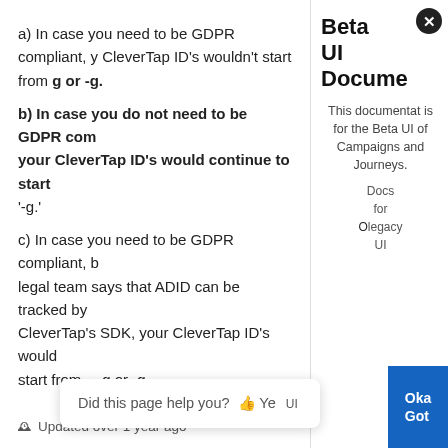a) In case you need to be GDPR compliant, y... CleverTap ID's wouldn't start from g or -g.
b) In case you do not need to be GDPR com... your CleverTap ID's would continue to start... '-g.'
c) In case you need to be GDPR compliant, b... legal team says that ADID can be tracked by... CleverTap's SDK, your CleverTap ID's would... start from __g or -g.
Updated over 1 year ago
Beta UI Documentation
This documentation is for the Beta UI of Campaigns and Journeys.
Did this page help you? 👍 Ye UI